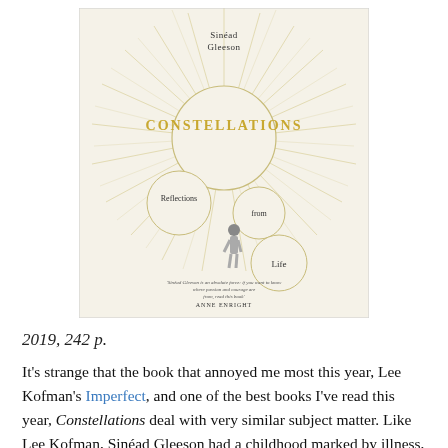[Figure (photo): Book cover of 'Constellations: Reflections from Life' by Sinéad Gleeson. Cream/off-white background with sunburst rays emanating from circles. Title 'CONSTELLATIONS' in gold/yellow serif capitals. Subtitle 'Reflections from Life' in smaller circles. A small illustration of a standing female figure. Quote from Anne Enright at bottom.]
2019, 242 p.
It's strange that the book that annoyed me most this year, Lee Kofman's Imperfect, and one of the best books I've read this year, Constellations deal with very similar subject matter. Like Lee Kofman, Sinéad Gleeson had a childhood marked by illness, and then six months to the day after her